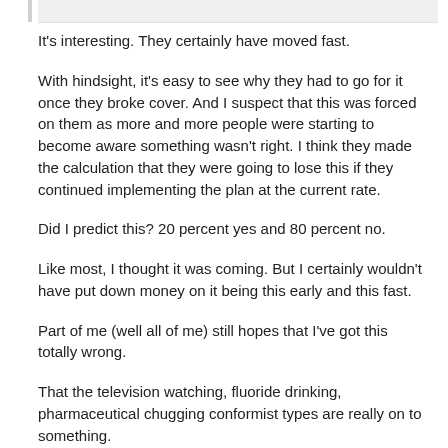It's interesting. They certainly have moved fast.
With hindsight, it's easy to see why they had to go for it once they broke cover. And I suspect that this was forced on them as more and more people were starting to become aware something wasn't right. I think they made the calculation that they were going to lose this if they continued implementing the plan at the current rate.
Did I predict this? 20 percent yes and 80 percent no.
Like most, I thought it was coming. But I certainly wouldn't have put down money on it being this early and this fast.
Part of me (well all of me) still hopes that I've got this totally wrong.
That the television watching, fluoride drinking, pharmaceutical chugging conformist types are really on to something.